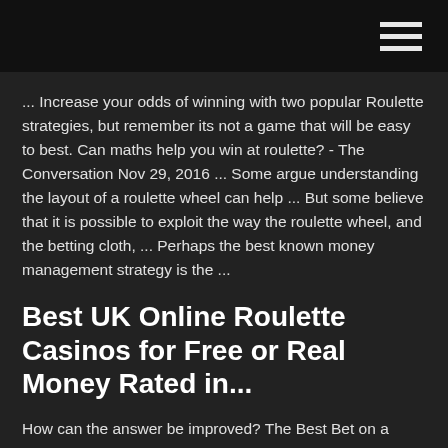[hamburger menu icon]
... Increase your odds of winning with two popular Roulette strategies, but remember its not a game that will be easy to best. Can maths help you win at roulette? - The Conversation Nov 29, 2016 ... Some argue understanding the layout of a roulette wheel can help ... But some believe that it is possible to exploit the way the roulette wheel, and the betting cloth, ... Perhaps the best known money management strategy is the ...
Best UK Online Roulette Casinos for Free or Real Money Rated in...
How can the answer be improved? The Best Bet on a Roulette Table - Winning Roulette These are table bets on